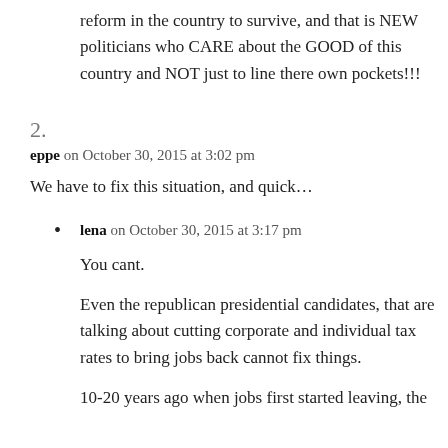reform in the country to survive, and that is NEW politicians who CARE about the GOOD of this country and NOT just to line there own pockets!!!
2.
eppe on October 30, 2015 at 3:02 pm
We have to fix this situation, and quick...
lena on October 30, 2015 at 3:17 pm
You cant.
Even the republican presidential candidates, that are talking about cutting corporate and individual tax rates to bring jobs back cannot fix things.
10-20 years ago when jobs first started leaving, the